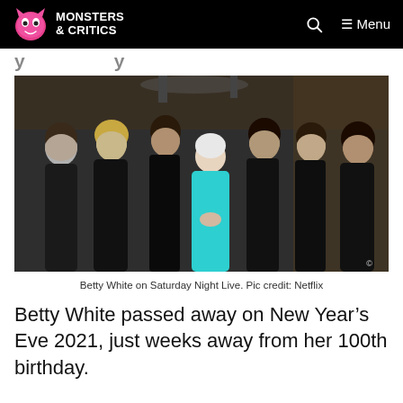MONSTERS & CRITICS
...y ... ...y
[Figure (photo): Betty White on Saturday Night Live posing with five female cast members, all dressed in black, while Betty White wears a teal/turquoise top.]
Betty White on Saturday Night Live. Pic credit: Netflix
Betty White passed away on New Year's Eve 2021, just weeks away from her 100th birthday.